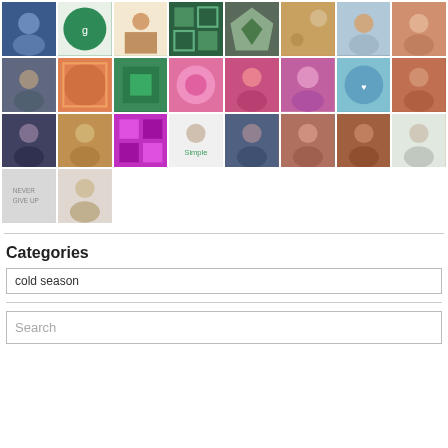[Figure (other): Grid of avatar/profile images arranged in rows, showing various people, patterns, and icons — approximately 34 avatars in 8-column grid layout]
Categories
cold season
Search